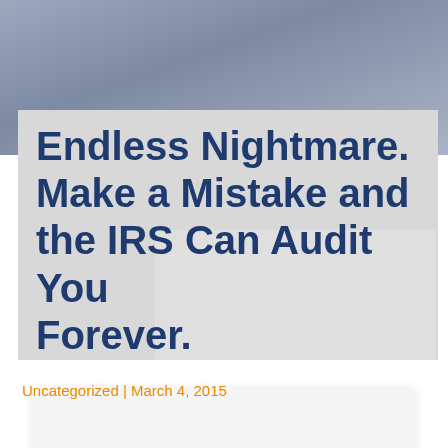[Figure (photo): Muted blue-grey hero image at the top of the page, appears to show hands or documents in the background, used as a decorative header banner.]
Endless Nightmare. Make a Mistake and the IRS Can Audit You Forever.
Uncategorized | March 4, 2015